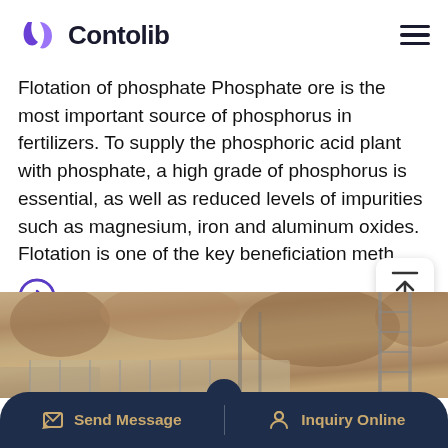Contolib
Flotation of phosphate Phosphate ore is the most important source of phosphorus in fertilizers. To supply the phosphoric acid plant with phosphate, a high grade of phosphorus is essential, as well as reduced levels of impurities such as magnesium, iron and aluminum oxides. Flotation is one of the key beneficiation meth…
[Figure (photo): Phosphate ore mining site showing workers and construction/mining equipment at an open-pit operation with rocky terrain and metal scaffolding structures]
Send Message   Inquiry Online